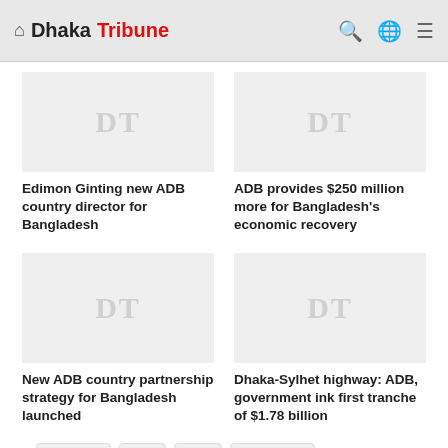Dhaka Tribune
[Figure (photo): Placeholder thumbnail with DT watermark for article: Edimon Ginting new ADB country director for Bangladesh]
Edimon Ginting new ADB country director for Bangladesh
[Figure (photo): Placeholder thumbnail with DT watermark for article: ADB provides $250 million more for Bangladesh's economic recovery]
ADB provides $250 million more for Bangladesh's economic recovery
[Figure (photo): Placeholder thumbnail with DT watermark for article: New ADB country partnership strategy for Bangladesh launched]
New ADB country partnership strategy for Bangladesh launched
[Figure (photo): Placeholder thumbnail with DT watermark for article: Dhaka-Sylhet highway: ADB, government ink first tranche of $1.78 billion]
Dhaka-Sylhet highway: ADB, government ink first tranche of $1.78 billion
Pandemic  ADB  SDG  Asia-Pacific
WORTH READING